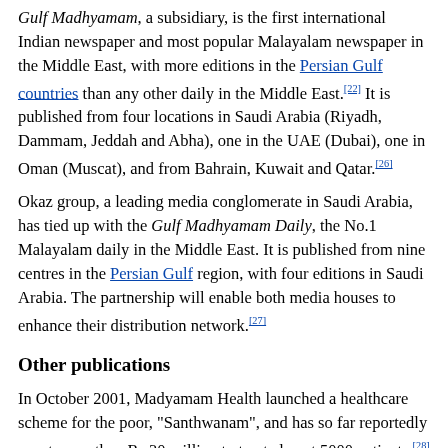Gulf Madhyamam, a subsidiary, is the first international Indian newspaper and most popular Malayalam newspaper in the Middle East, with more editions in the Persian Gulf countries than any other daily in the Middle East.[22] It is published from four locations in Saudi Arabia (Riyadh, Dammam, Jeddah and Abha), one in the UAE (Dubai), one in Oman (Muscat), and from Bahrain, Kuwait and Qatar.[26]
Okaz group, a leading media conglomerate in Saudi Arabia, has tied up with the Gulf Madhyamam Daily, the No.1 Malayalam daily in the Middle East. It is published from nine centres in the Persian Gulf region, with four editions in Saudi Arabia. The partnership will enable both media houses to enhance their distribution network.[27]
Other publications
In October 2001, Madyamam Health launched a healthcare scheme for the poor, "Santhwanam", and has so far reportedly spent more than Rs 30 million to treat almost 5000 patients.[28]
Kudumbam is the Lifestyle monthly family magazine, Ruchi is a recipe and health Magazine, Madhyamam Vidhya is an annual...